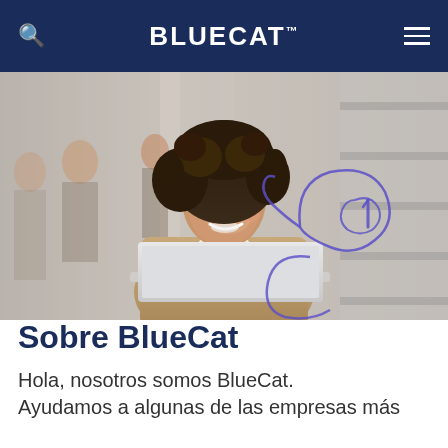BLUECAT™
[Figure (photo): A smiling woman with curly hair wearing a beige blazer, working on a laptop in a bright office environment. There are abstract purple decorative swirl/loop graphics overlaid on the image.]
Sobre BlueCat
Hola, nosotros somos BlueCat. Ayudamos a algunas de las empresas más